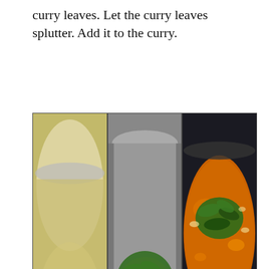curry leaves. Let the curry leaves splutter. Add it to the curry.
[Figure (photo): Three side-by-side cooking photos: left shows spices (dried red chili, cardamom) in oil in a steel pot; center shows fresh curry leaves sputtering in oil in the same pot; right shows the curry leaves added to an orange-colored curry in a dark pot.]
Keep the cooker back on heat and let it come to a boil on low flame. Check for seasoning. Add salt if necessary. In the mean time make a corn starch slurry with 2 tablespoon of corn flour and half a cup of water. Add it to the curry. This will